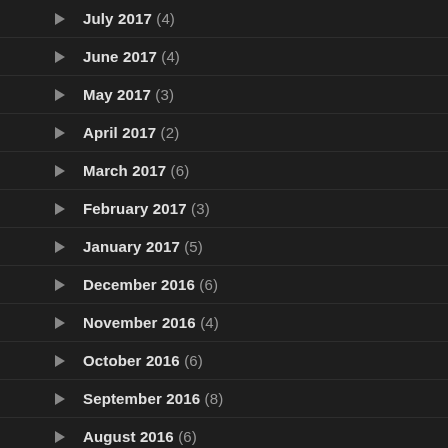July 2017 (4)
June 2017 (4)
May 2017 (3)
April 2017 (2)
March 2017 (6)
February 2017 (3)
January 2017 (5)
December 2016 (6)
November 2016 (4)
October 2016 (6)
September 2016 (8)
August 2016 (6)